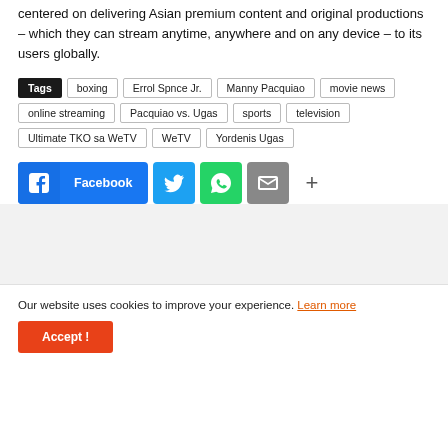centered on delivering Asian premium content and original productions – which they can stream anytime, anywhere and on any device – to its users globally.
Tags  boxing  Errol Spnce Jr.  Manny Pacquiao  movie news  online streaming  Pacquiao vs. Ugas  sports  television  Ultimate TKO sa WeTV  WeTV  Yordenis Ugas
[Figure (other): Social share buttons: Facebook, Twitter, WhatsApp, Email, and a more (+) button]
Our website uses cookies to improve your experience. Learn more
Accept !